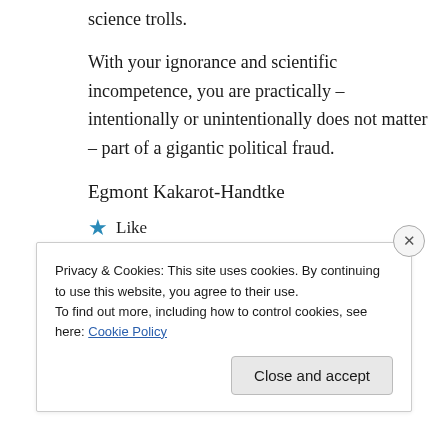science trolls.
With your ignorance and scientific incompetence, you are practically – intentionally or unintentionally does not matter – part of a gigantic political fraud.
Egmont Kakarot-Handtke
★ Like
Privacy & Cookies: This site uses cookies. By continuing to use this website, you agree to their use.
To find out more, including how to control cookies, see here: Cookie Policy
Close and accept